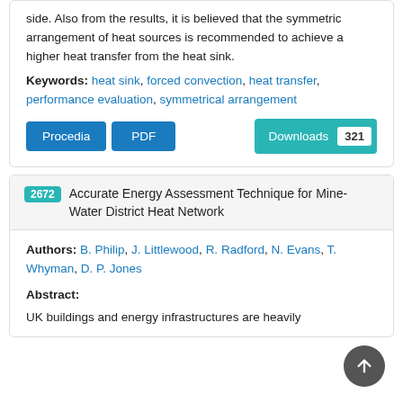side. Also from the results, it is believed that the symmetric arrangement of heat sources is recommended to achieve a higher heat transfer from the heat sink.
Keywords: heat sink, forced convection, heat transfer, performance evaluation, symmetrical arrangement
Procedia  PDF  Downloads 321
2672 Accurate Energy Assessment Technique for Mine-Water District Heat Network
Authors: B. Philip, J. Littlewood, R. Radford, N. Evans, T. Whyman, D. P. Jones
Abstract:
UK buildings and energy infrastructures are heavily